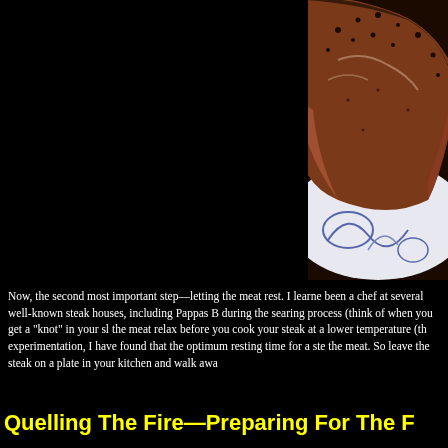[Figure (photo): Close-up photo of a seasoned/seared steak on a blue and white decorative plate, shown on a black background. The steak has a dark pepper crust and the plate has blue floral or decorative patterns.]
Now, the second most important step—letting the meat rest. I learne been a chef at several well-known steak houses, including Pappas B during the searing process (think of when you get a "knot" in your sl the meat relax before you cook your steak at a lower temperature (th experimentation, I have found that the optimum resting time for a ste the meat. So leave the steak on a plate in your kitchen and walk awa
Quelling The Fire—Preparing For The F